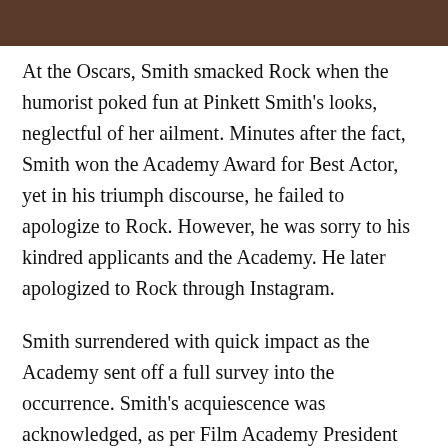[Figure (photo): Partial cropped photo strip at top of page showing dark background]
At the Oscars, Smith smacked Rock when the humorist poked fun at Pinkett Smith's looks, neglectful of her ailment. Minutes after the fact, Smith won the Academy Award for Best Actor, yet in his triumph discourse, he failed to apologize to Rock. However, he was sorry to his kindred applicants and the Academy. He later apologized to Rock through Instagram.
Smith surrendered with quick impact as the Academy sent off a full survey into the occurrence. Smith's acquiescence was acknowledged, as per Film Academy President David Rubin. “Ahead of our next arranged executive gathering on April 18, we will keep on traveling through with our disciplinary cycles against Mr. Smith for the length of the investigation.